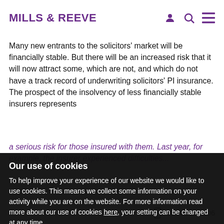MILLS & REEVE
Many new entrants to the solicitors' market will be financially stable. But there will be an increased risk that it will now attract some, which are not, and which do not have a track record of underwriting solicitors' PI insurance. The prospect of the insolvency of less financially stable insurers represents a serious risk for those insured with them. Last year, for example, one insurer experienced difficulties...
Insurer's Insolvency
Our use of cookies
To help improve your experience of our website we would like to use cookies. This means we collect some information on your activity while you are on the website. For more information read more about our use of cookies here, your setting can be changed at any time.
Please accept our use of cookies and help us improve your experience.
The financial and commercial consequences arising out of the insolvency of a qualifying insurer are potentially serious:
0344 880 2606